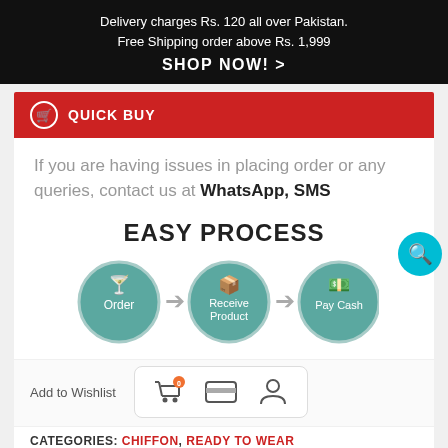Delivery charges Rs. 120 all over Pakistan. Free Shipping order above Rs. 1,999
SHOP NOW! >
QUICK BUY
If you are having issues in placing order or any queries, contact us at WhatsApp, SMS
[Figure (infographic): Easy Process infographic with three steps: Order -> Receive Product -> Pay Cash, shown as teal circles with icons and arrows between them]
Add to Wishlist
[Figure (infographic): Shopping cart icon with badge showing 0, credit card icon, and person/account icon in a white rounded rectangle]
CATEGORIES: CHIFFON, READY TO WEAR